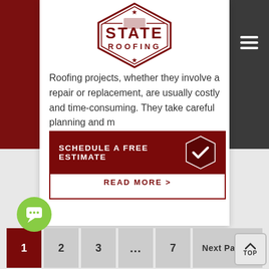[Figure (logo): State Roofing hexagonal logo with text STATE ROOFING]
Roofing projects, whether they involve a repair or replacement, are usually costly and time-consuming. They take careful planning and m...
[Figure (infographic): Dark red CTA banner: SCHEDULE A FREE ESTIMATE with checkmark hexagon icon]
READ MORE >
1  2  3  ...  7  Next Page »  TOP